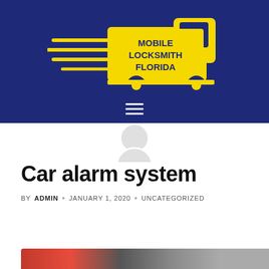[Figure (logo): Mobile Locksmith Florida logo: yellow delivery truck with speed lines and bold text 'MOBILE LOCKSMITH FLORIDA' on dark navy/blue background header]
Car alarm system
BY ADMIN • JANUARY 1, 2020 • UNCATEGORIZED
[Figure (photo): Partial photo showing car interior/exterior elements at bottom of page]